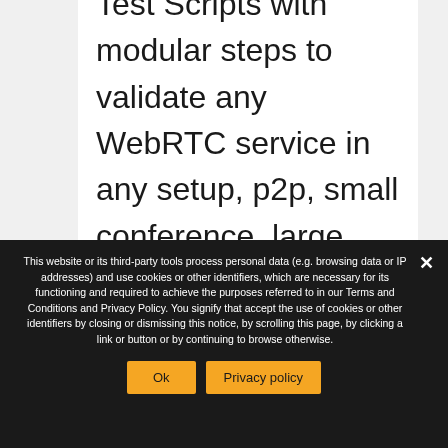Leverage our existing Selenium Test Scripts with modular steps to validate any WebRTC service in any setup, p2p, small conference, large conference, webinar, live streaming, and
This website or its third-party tools process personal data (e.g. browsing data or IP addresses) and use cookies or other identifiers, which are necessary for its functioning and required to achieve the purposes referred to in our Terms and Conditions and Privacy Policy. You signify that accept the use of cookies or other identifiers by closing or dismissing this notice, by scrolling this page, by clicking a link or button or by continuing to browse otherwise.